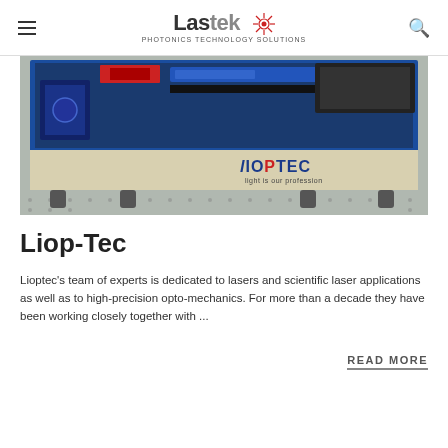Lastek Photonics Technology Solutions
[Figure (photo): Photo of a Liop-Tec laser/opto-mechanics instrument in blue housing on an optical table, with LIOPTEC logo and tagline 'light is our profession' visible on the front panel.]
Liop-Tec
Lioptec's team of experts is dedicated to lasers and scientific laser applications as well as to high-precision opto-mechanics. For more than a decade they have been working closely together with ...
READ MORE